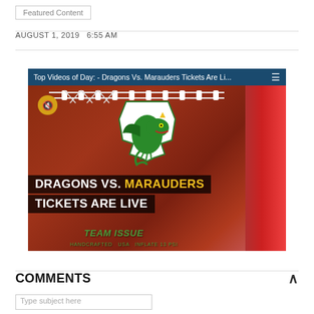Featured Content
AUGUST 1, 2019   6:55 AM
[Figure (screenshot): Video player thumbnail showing a football close-up with text overlay 'DRAGONS VS. MARAUDERS TICKETS ARE LIVE' and a dragon logo. Bar at top reads: 'Top Videos of Day: - Dragons Vs. Marauders Tickets Are Li...' with hamburger menu icon. Mute button visible, Team Issue branding on football.]
COMMENTS
Type subject here